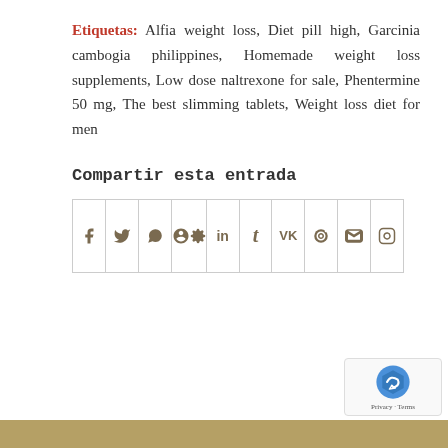Etiquetas: Alfia weight loss, Diet pill high, Garcinia cambogia philippines, Homemade weight loss supplements, Low dose naltrexone for sale, Phentermine 50 mg, The best slimming tablets, Weight loss diet for men
Compartir esta entrada
[Figure (other): Social share buttons row with icons for Facebook, Twitter, WhatsApp, Pinterest, LinkedIn, Tumblr, VK, Reddit, Email, Instagram]